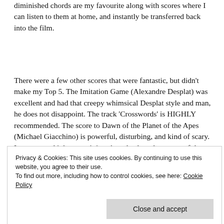diminished chords are my favourite along with scores where I can listen to them at home, and instantly be transferred back into the film.
There were a few other scores that were fantastic, but didn't make my Top 5.  The Imitation Game (Alexandre Desplat) was excellent and had that creepy whimsical Desplat style and man, he does not disappoint.  The track 'Crosswords' is HIGHLY recommended.  The score to Dawn of the Planet of the Apes (Michael Giacchino) is powerful, disturbing, and kind of scary.  I recommend it because it is a throwback to the scores of the 60s.  At times, it really sounds like something right out of the 60s.  There was a
Privacy & Cookies: This site uses cookies. By continuing to use this website, you agree to their use.
To find out more, including how to control cookies, see here: Cookie Policy
I highly recommend that you check out all of the scores